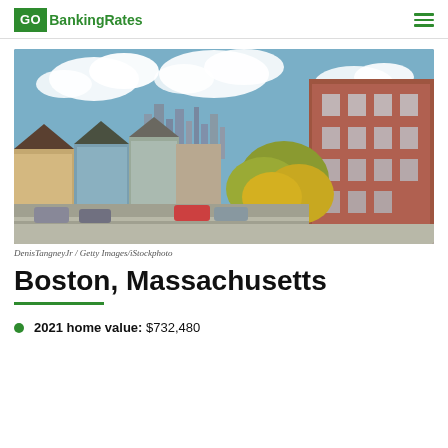GOBankingRates
[Figure (photo): Aerial street view of Boston, Massachusetts neighborhood with brownstone buildings, colorful row houses, tree-lined street with parked cars, and Boston skyline in the background under cloudy sky.]
DenisTangneyJr / Getty Images/iStockphoto
Boston, Massachusetts
2021 home value: $732,480